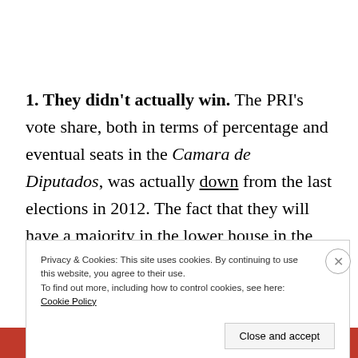1. They didn't actually win. The PRI's vote share, both in terms of percentage and eventual seats in the Camara de Diputados, was actually down from the last elections in 2012. The fact that they will have a majority in the lower house in the coming session is
Privacy & Cookies: This site uses cookies. By continuing to use this website, you agree to their use. To find out more, including how to control cookies, see here: Cookie Policy
Close and accept